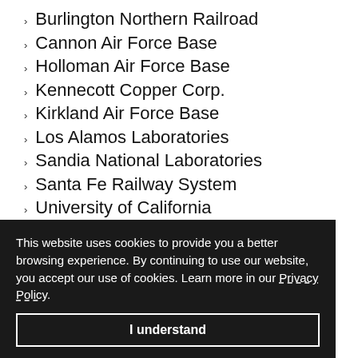Burlington Northern Railroad
Cannon Air Force Base
Holloman Air Force Base
Kennecott Copper Corp.
Kirkland Air Force Base
Los Alamos Laboratories
Sandia National Laboratories
Santa Fe Railway System
University of California
White Sands Missile Range
MESOTHELIOMA IN NEW MEXICO
…ost aggressive …cause of this rare …ents have not …ma death rates …isease Control …tates. Still, between 1999-2004, 81 New Mexico residents died from